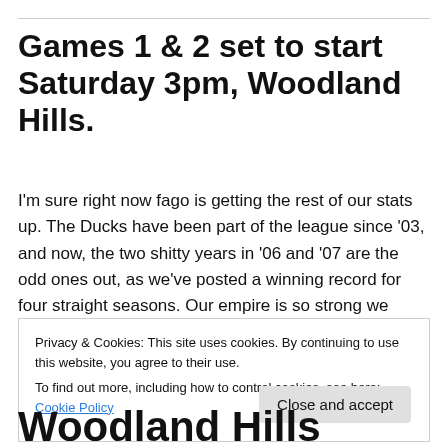Games 1 & 2 set to start Saturday 3pm, Woodland Hills.
I'm sure right now fago is getting the rest of our stats up. The Ducks have been part of the league since '03, and now, the two shitty years in '06 and '07 are the odd ones out, as we've posted a winning record for four straight seasons. Our empire is so strong we absorbed the Owlz, the only … Continue reading →
Privacy & Cookies: This site uses cookies. By continuing to use this website, you agree to their use.
To find out more, including how to control cookies, see here: Cookie Policy
Close and accept
Woodland Hills